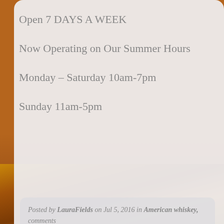Open 7 DAYS A WEEK
Now Operating on Our Summer Hours
Monday – Saturday 10am-7pm
Sunday 11am-5pm
Posted by LauraFields on Jul 5, 2016 in American whiskey, comments